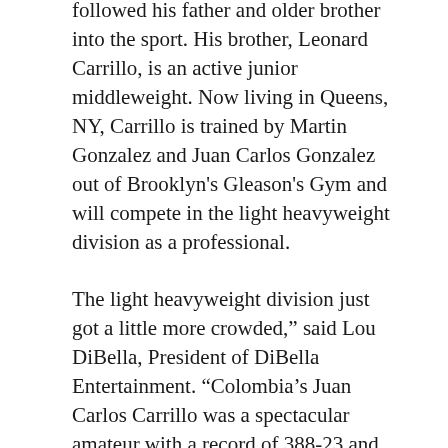followed his father and older brother into the sport. His brother, Leonard Carrillo, is an active junior middleweight. Now living in Queens, NY, Carrillo is trained by Martin Gonzalez and Juan Carlos Gonzalez out of Brooklyn's Gleason's Gym and will compete in the light heavyweight division as a professional.
The light heavyweight division just got a little more crowded," said Lou DiBella, President of DiBella Entertainment. "Colombia's Juan Carlos Carrillo was a spectacular amateur with a record of 388-23 and will have the tools and maturity to progress through the pro ranks at a quick pace. I am happy to work with his manager Felipe Gomez and look forward to providing Carrillo with the opportunities necessary for him to achieve his dream of becoming a world champion."
"I've always dreamed fighting in the United States